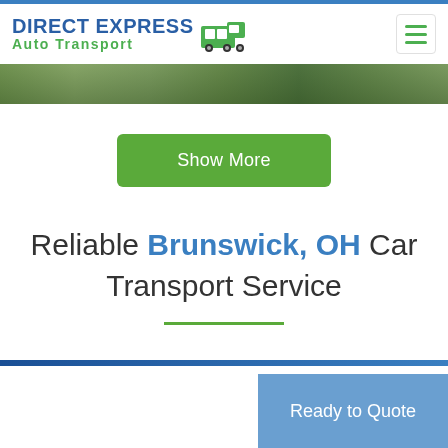[Figure (logo): Direct Express Auto Transport logo with truck icon]
[Figure (photo): Hero banner image showing tropical/suburban landscape with green trees and buildings]
Show More
Reliable Brunswick, OH Car Transport Service
Ready to Quote